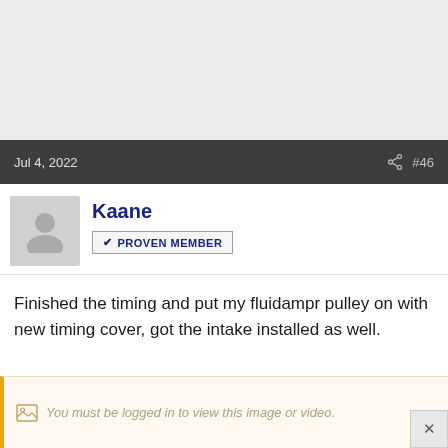[Figure (other): Top gray area placeholder]
Jul 4, 2022   #46
Kaane
✔ PROVEN MEMBER
Finished the timing and put my fluidampr pulley on with new timing cover, got the intake installed as well.
You must be logged in to view this image or video.